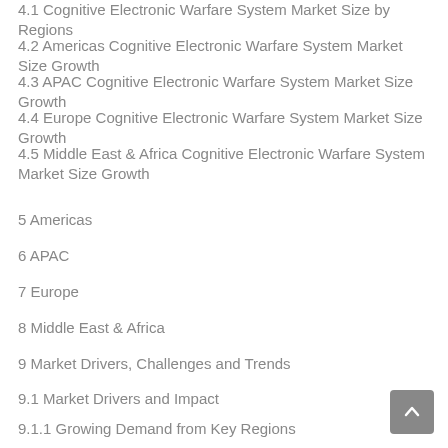4.1 Cognitive Electronic Warfare System Market Size by Regions
4.2 Americas Cognitive Electronic Warfare System Market Size Growth
4.3 APAC Cognitive Electronic Warfare System Market Size Growth
4.4 Europe Cognitive Electronic Warfare System Market Size Growth
4.5 Middle East & Africa Cognitive Electronic Warfare System Market Size Growth
5 Americas
6 APAC
7 Europe
8 Middle East & Africa
9 Market Drivers, Challenges and Trends
9.1 Market Drivers and Impact
9.1.1 Growing Demand from Key Regions
9.1.2 Growing Demand from Key Applications and Potential Industries